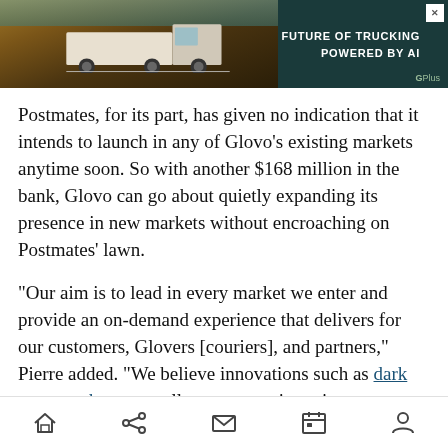[Figure (photo): Advertisement banner: truck driving in desert landscape with text 'FUTURE OF TRUCKING POWERED BY AI' and G Plus logo]
Postmates, for its part, has given no indication that it intends to launch in any of Glovo’s existing markets anytime soon. So with another $168 million in the bank, Glovo can go about quietly expanding its presence in new markets without encroaching on Postmates’ lawn.
“Our aim is to lead in every market we enter and provide an on-demand experience that delivers for our customers, Glovers [couriers], and partners,” Pierre added. “We believe innovations such as dark supermarkets, as well as our appetite to innovate to provide everything through one app for city
Home | Share | Mail | Calendar | Profile